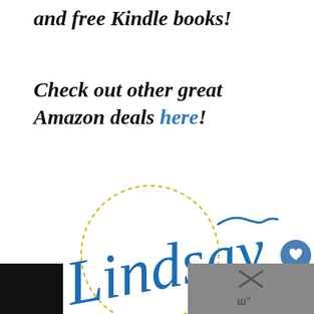and free Kindle books!
Check out other great Amazon deals here!
[Figure (illustration): Handwritten cursive signature 'Lindsay' in blue ink inside a dashed circle, with decorative flourishes]
[Figure (infographic): UI overlay buttons: blue heart icon button, green pill with number 12, green share button with plus icon]
[Figure (screenshot): Black footer bar with a partially visible close X button and thermometer icon on gray background at bottom right]